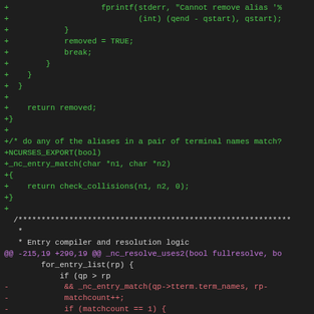[Figure (screenshot): Diff/patch view of C source code showing added lines in green, removed lines in red, context lines in white, and a hunk header line in magenta. The code appears to be from ncurses library related to alias matching and entry resolution logic.]